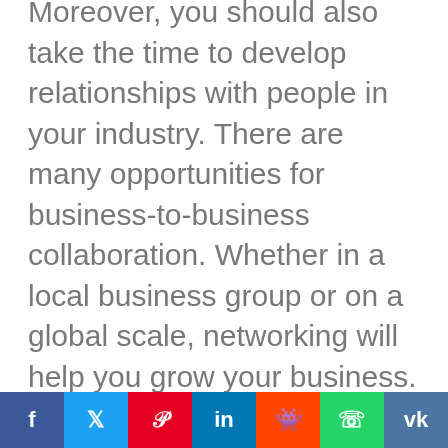Moreover, you should also take the time to develop relationships with people in your industry. There are many opportunities for business-to-business collaboration. Whether in a local business group or on a global scale, networking will help you grow your business.
Moreover, you can build relationships with other people in your industry. It is